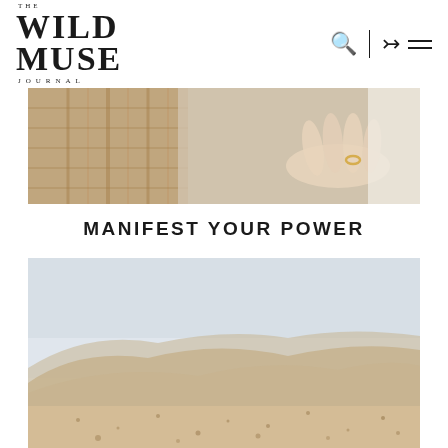THE WILD MUSE JOURNAL — navigation header with search, login, and menu icons
[Figure (photo): Cropped photo showing a person's hand with a gold ring resting on a woven basket or chair, neutral linen tones]
MANIFEST YOUR POWER
[Figure (photo): Landscape photo of desert sand dunes with hazy sky, minimal and serene atmosphere]